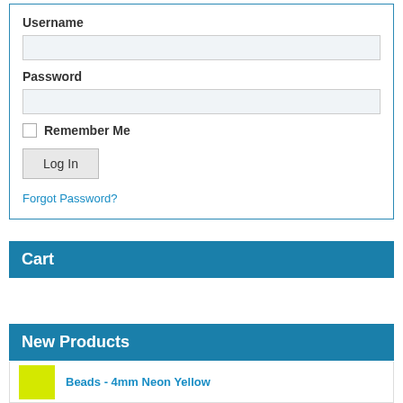Username
Password
Remember Me
Log In
Forgot Password?
Cart
New Products
Beads - 4mm Neon Yellow